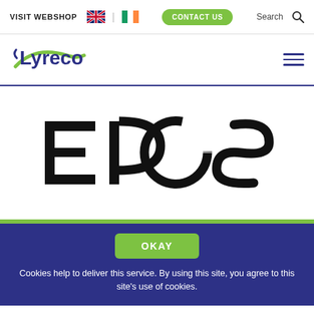VISIT WEBSHOP  CONTACT US  Search
[Figure (logo): Lyreco company logo with green swoosh]
[Figure (logo): EPOS brand logo in large black bold text]
OKAY
Cookies help to deliver this service. By using this site, you agree to this site's use of cookies.